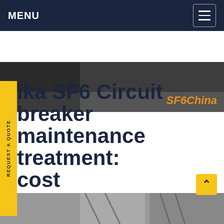MENU
[Figure (photo): Dark hero image of electrical equipment with SF6China brand overlay]
ika SF6 Circuit breaker maintenance treatment cost
36 66kv 110kv hv SF6 Circuit Breaker US $12000 / Set, Beijing, China, DALIN, LW36A/B.Source from Beijing Daelim Green Ep Technology Co., Ltd. on baba. 1.Why choice us Daelim After compare quality,delivery and price you will find out. Get PriceGet price
[Figure (screenshot): Popup chat widget with SF6 expert offering to send catalogue and price list, with avatar and green chat badge]
[Figure (photo): Bottom image showing SF6 circuit breaker equipment structures]